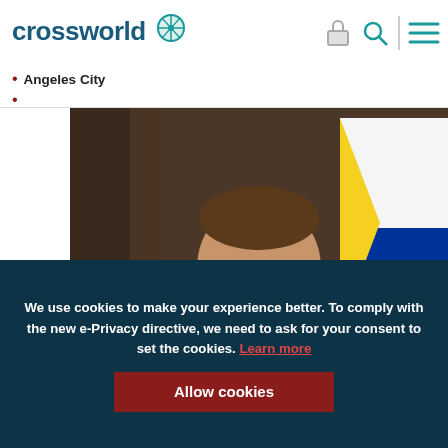crossworld
Angeles City
[Figure (photo): A man in a patterned shirt reads documents showing COVID statistics (37,514, 10,233, 1,266) in front of a microphone, with a Philippine flag in the background.]
We use cookies to make your experience better. To comply with the new e-Privacy directive, we need to ask for your consent to set the cookies. Learn more
Allow cookies